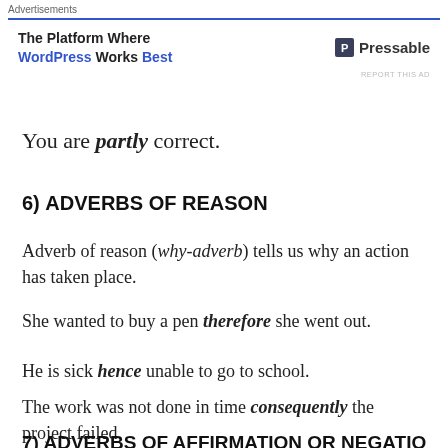Advertisements
[Figure (other): Advertisement banner for Pressable WordPress hosting: 'The Platform Where WordPress Works Best' with Pressable logo]
You are partly correct.
6) ADVERBS OF REASON
Adverb of reason (why-adverb) tells us why an action has taken place.
She wanted to buy a pen therefore she went out.
He is sick hence unable to go to school.
The work was not done in time consequently the project failed.
7) ADVERBS OF AFFIRMATION OR NEGATION